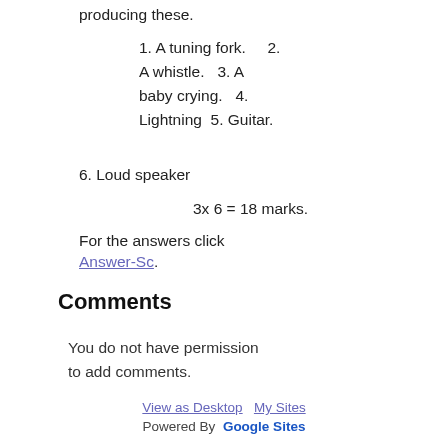producing these.
1. A tuning fork.    2. A whistle.   3. A baby crying.   4. Lightning  5. Guitar.
6. Loud speaker
3x 6 = 18 marks.
For the answers click Answer-Sc.
Comments
You do not have permission to add comments.
View as Desktop   My Sites
Powered By  Google Sites